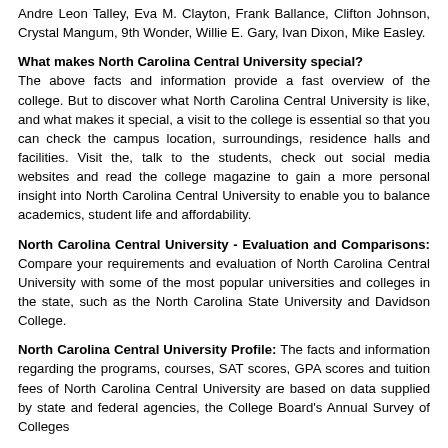Andre Leon Talley, Eva M. Clayton, Frank Ballance, Clifton Johnson, Crystal Mangum, 9th Wonder, Willie E. Gary, Ivan Dixon, Mike Easley.
What makes North Carolina Central University special?
The above facts and information provide a fast overview of the college. But to discover what North Carolina Central University is like, and what makes it special, a visit to the college is essential so that you can check the campus location, surroundings, residence halls and facilities. Visit the, talk to the students, check out social media websites and read the college magazine to gain a more personal insight into North Carolina Central University to enable you to balance academics, student life and affordability.
North Carolina Central University - Evaluation and Comparisons: Compare your requirements and evaluation of North Carolina Central University with some of the most popular universities and colleges in the state, such as the North Carolina State University and Davidson College.
North Carolina Central University Profile: The facts and information regarding the programs, courses, SAT scores, GPA scores and tuition fees of North Carolina Central University are based on data supplied by state and federal agencies, the College Board's Annual Survey of Colleges